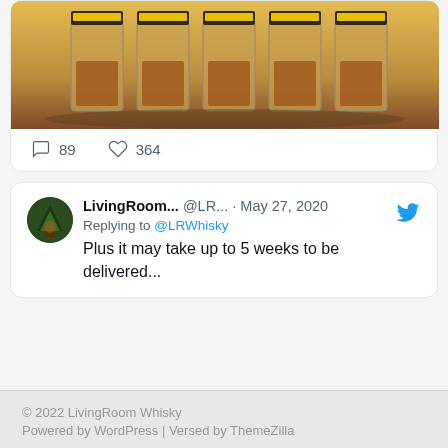[Figure (photo): Whisky bottles/glasses arranged on a tray, partially visible at top]
89   364
LivingRoom... @LR... · May 27, 2020
Replying to @LRWhisky
Plus it may take up to 5 weeks to be delivered...
© 2022 LivingRoom Whisky
Powered by WordPress | Versed by ThemeZilla